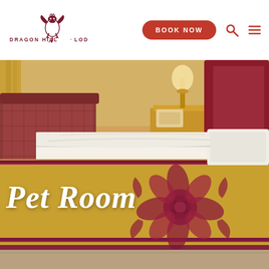[Figure (logo): Dragon Hill Lodge logo with stylized griffin/dragon icon in dark red, text reads DRAGON HILL LODGE]
[Figure (other): Book Now button in red rounded rectangle, search icon, and hamburger menu icon]
[Figure (photo): Hotel room photo showing a large bed with gold and burgundy bedspread featuring a decorative floral motif, a red upholstered chair, wooden nightstand with lamp and phone, and cream curtains]
Pet Room